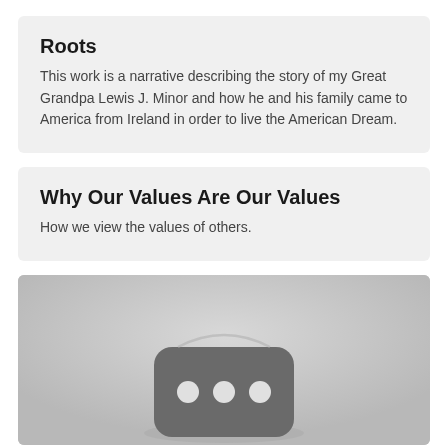Roots
This work is a narrative describing the story of my Great Grandpa Lewis J. Minor and how he and his family came to America from Ireland in order to live the American Dream.
Why Our Values Are Our Values
How we view the values of others.
[Figure (photo): A rounded square icon showing three circular dots (like a dice face or ellipsis icon) on a dark gray background, displayed on a light gray surface with subtle shadow/gradient.]